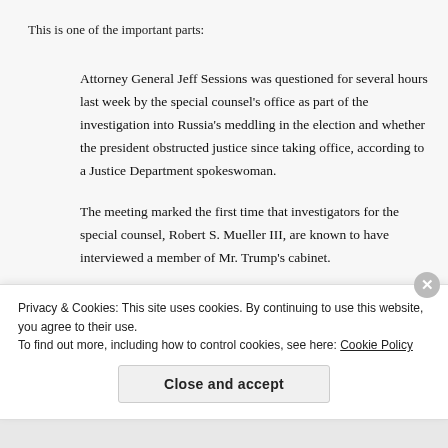This is one of the important parts:
Attorney General Jeff Sessions was questioned for several hours last week by the special counsel’s office as part of the investigation into Russia’s meddling in the election and whether the president obstructed justice since taking office, according to a Justice Department spokeswoman.
The meeting marked the first time that investigators for the special counsel, Robert S. Mueller III, are known to have interviewed a member of Mr. Trump’s cabinet.
In response to questions from The New York Times, the…
[Figure (photo): Dark/black and white photograph partially visible at right side of page]
Privacy & Cookies: This site uses cookies. By continuing to use this website, you agree to their use.
To find out more, including how to control cookies, see here: Cookie Policy
Close and accept